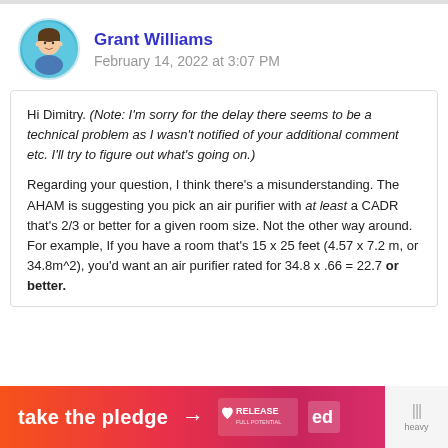Grant Williams
February 14, 2022 at 3:07 PM
Hi Dimitry. (Note: I'm sorry for the delay there seems to be a technical problem as I wasn't notified of your additional comment etc. I'll try to figure out what's going on.)
Regarding your question, I think there's a misunderstanding. The AHAM is suggesting you pick an air purifier with at least a CADR that's 2/3 or better for a given room size. Not the other way around. For example, If you have a room that's 15 x 25 feet (4.57 x 7.2 m, or 34.8m^2), you'd want an air purifier rated for 34.8 x .66 = 22.7 or better.
[Figure (infographic): Orange-to-pink gradient banner ad saying 'take the pledge' with an arrow and RELEASE logo plus an education icon]